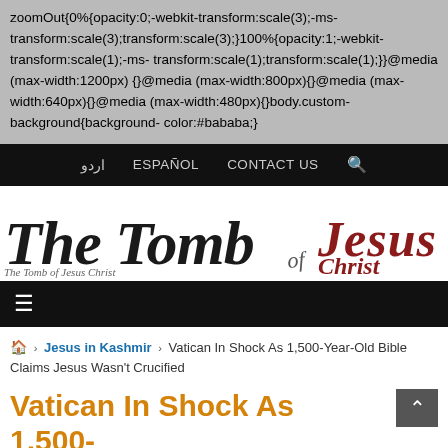zoomOut{0%{opacity:0;-webkit-transform:scale(3);-ms-transform:scale(3);transform:scale(3);}100%{opacity:1;-webkit-transform:scale(1);-ms-transform:scale(1);transform:scale(1);}}@media (max-width:1200px){}@media (max-width:800px){}@media (max-width:640px){}@media (max-width:480px){}body.custom-background{background-color:#bababa;}
اردو   ESPAÑOL   CONTACT US   🔍
[Figure (logo): The Tomb of Jesus Christ website logo with stylized gothic/serif lettering]
☰
🏠 › Jesus in Kashmir › Vatican In Shock As 1,500-Year-Old Bible Claims Jesus Wasn't Crucified
Vatican In Shock As 1,500-